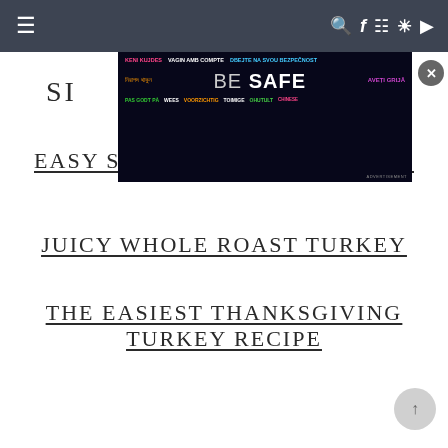Navigation bar with hamburger menu and social icons (search, facebook, instagram, pinterest, youtube)
[Figure (screenshot): BE SAFE multilingual advertisement banner with text in multiple languages including KENI KUJDES, VAGIN AMB COMPTE, DBEJTE NA SVOU BEZPECNOST, Bengali text, BE SAFE, AVETI GRIJA, PAS GODT PA, WEES VOORZICHTIG, TOIMIGE OHUTULT]
SI...EY
EASY SMOKED TURKEY RECIPE
JUICY WHOLE ROAST TURKEY
THE EASIEST THANKSGIVING TURKEY RECIPE